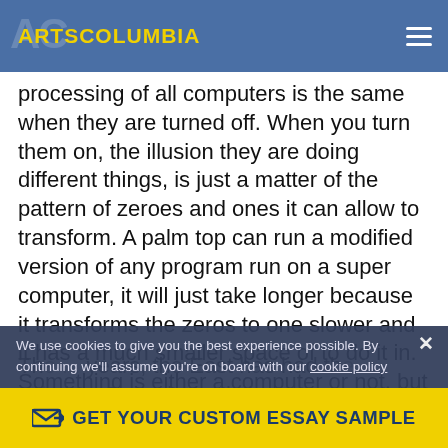ARTSCOLUMBIA
processing of all computers is the same when they are turned off. When you turn them on, the illusion they are doing different things, is just a matter of the pattern of zeroes and ones it can allow to transform. A palm top can run a modified version of any program run on a super computer, it will just take longer because it transforms the zeros to one slower and it has a much smaller space of to do it in. Something is either a computer or not, but what is a computer and what is not is as easily answered as the original question. Western science has sought for over fifty years to find a model of the human mind.
The ... years, the East has had th...ution. But science is just ...
We use cookies to give you the best experience possible. By continuing we'll assume you're on board with our cookie policy
GET YOUR CUSTOM ESSAY SAMPLE